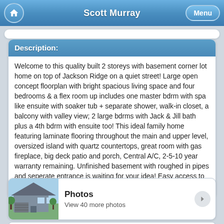Scott Murray
Description:
Welcome to this quality built 2 storeys with basement corner lot home on top of Jackson Ridge on a quiet street! Large open concept floorplan with bright spacious living space and four bedrooms & a flex room up includes one master bdrm with spa like ensuite with soaker tub + separate shower, walk-in closet, a balcony with valley view; 2 large bdrms with Jack & Jill bath plus a 4th bdrm with ensuite too! This ideal family home featuring laminate flooring throughout the main and upper level, oversized island with quartz countertops, great room with gas fireplace, big deck patio and porch, Central A/C, 2-5-10 year warranty remaining. Unfinished basement with roughed in pipes and seperate entrance is waiting for your idea! Easy access to shopping, all levels of schools, trails and more!
[Figure (photo): Thumbnail photo of a house exterior]
Photos
View 40 more photos